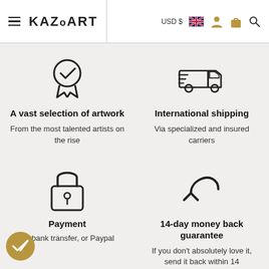KAZoART — USD $ navigation bar
[Figure (illustration): Medal/award badge icon with checkmark]
A vast selection of artwork
From the most talented artists on the rise
[Figure (illustration): Delivery truck with speed lines icon]
International shipping
Via specialized and insured carriers
[Figure (illustration): Padlock security icon]
Payment
rd, bank transfer, or Paypal
[Figure (illustration): Return/undo arrow icon]
14-day money back guarantee
If you don't absolutely love it, send it back within 14